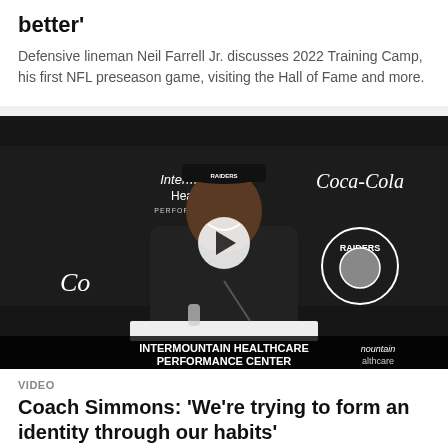better'
Defensive lineman Neil Farrell Jr. discusses 2022 Training Camp, his first NFL preseason game, visiting the Hall of Fame and more.
[Figure (photo): Video thumbnail showing a man in Raiders gear smiling at a press conference podium with Intermountain Healthcare Performance Center and Coca-Cola branding visible in the background. A play button is overlaid in the center.]
VIDEO
Coach Simmons: 'We're trying to form an identity through our habits'